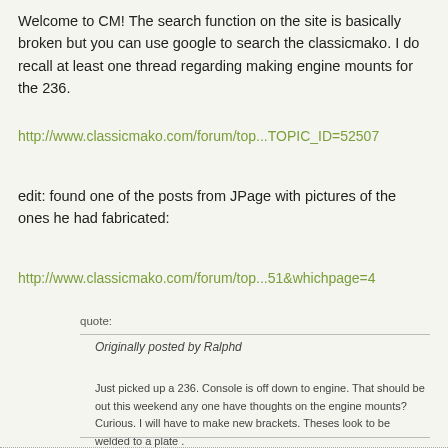Welcome to CM! The search function on the site is basically broken but you can use google to search the classicmako. I do recall at least one thread regarding making engine mounts for the 236.
http://www.classicmako.com/forum/top...TOPIC_ID=52507
edit: found one of the posts from JPage with pictures of the ones he had fabricated:
http://www.classicmako.com/forum/top...51&whichpage=4
quote:
Originally posted by Ralphd
Just picked up a 236. Console is off down to engine. That should be out this weekend any one have thoughts on the engine mounts? Curious. I will have to make new brackets. Theses look to be welded to a plate .